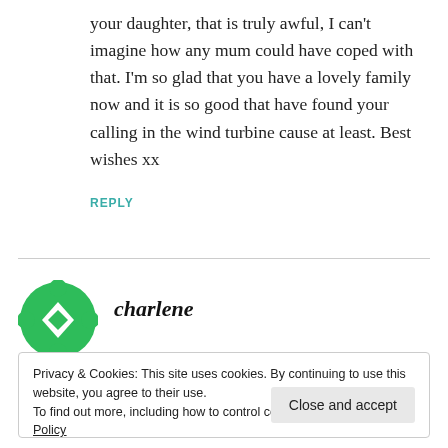your daughter, that is truly awful, I can't imagine how any mum could have coped with that. I'm so glad that you have a lovely family now and it is so good that have found your calling in the wind turbine cause at least. Best wishes xx
REPLY
[Figure (logo): Green circular icon with diamond/cross pattern, resembling a stylized figure]
charlene
Privacy & Cookies: This site uses cookies. By continuing to use this website, you agree to their use.
To find out more, including how to control cookies, see here: Cookie Policy
Close and accept
my gosh it was right! I love your website, my son